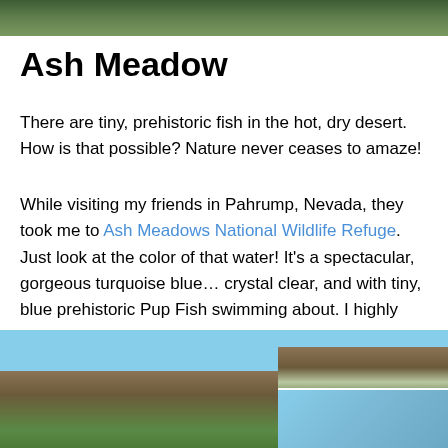[Figure (photo): Top photo showing green vegetation/nature scene, cropped at top of page]
Ash Meadow
There are tiny, prehistoric fish in the hot, dry desert. How is that possible? Nature never ceases to amaze!
While visiting my friends in Pahrump, Nevada, they took me to Ash Meadows National Wildlife Refuge. Just look at the color of that water! It’s a spectacular, gorgeous turquoise blue… crystal clear, and with tiny, blue prehistoric Pup Fish swimming about. I highly recommend a visit if you’re ever in the area. ~SueBee
[Figure (photo): Bottom left photo showing desert mountain landscape with blue sky and green shrubs]
[Figure (photo): Bottom right top photo showing desert hillside with boardwalk path]
[Figure (photo): Bottom right bottom photo showing blue water/turquoise springs at Ash Meadows]